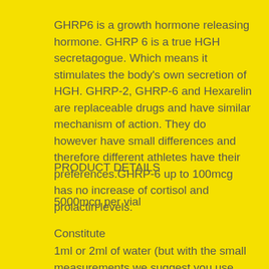GHRP6 is a growth hormone releasing hormone. GHRP 6 is a true HGH secretagogue. Which means it stimulates the body's own secretion of HGH. GHRP-2, GHRP-6 and Hexarelin are replaceable drugs and have similar mechanism of action. They do however have small differences and therefore different athletes have their preferences.GHRP-6 up to 100mcg has no increase of cortisol and prolactin levels.
PRODUCT DETAILS
5000mcg per vial
Constitute
1ml or 2ml of water (but with the small measurements we suggest you use 2ml)